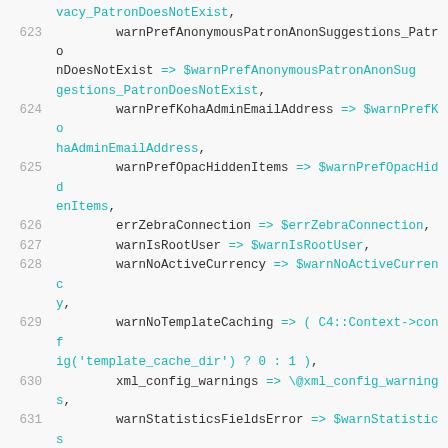[Figure (screenshot): Source code listing in a monospace editor showing Perl code lines 623-635 with line numbers, dark text keys, cyan variable values, and red keywords.]